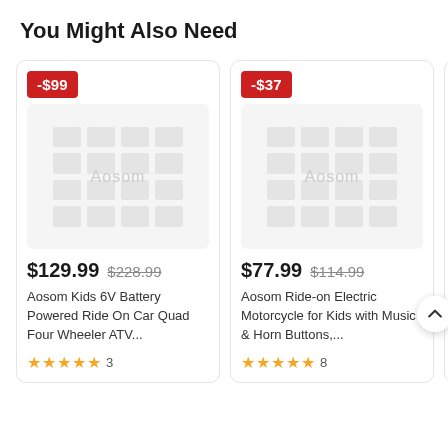You Might Also Need
[Figure (screenshot): Product card 1: discount badge -$99, Aosom watermark image placeholder, price $129.99 (was $228.99), product name 'Aosom Kids 6V Battery Powered Ride On Car Quad Four Wheeler ATV...', 5-star rating with 3 reviews]
[Figure (screenshot): Product card 2: discount badge -$37, Aosom watermark image placeholder, price $77.99 (was $114.99), product name 'Aosom Ride-on Electric Motorcycle for Kids with Music & Horn Buttons,...', 5-star rating with 8 reviews]
[Figure (screenshot): Partially visible third product card with a red discount badge on the right edge]